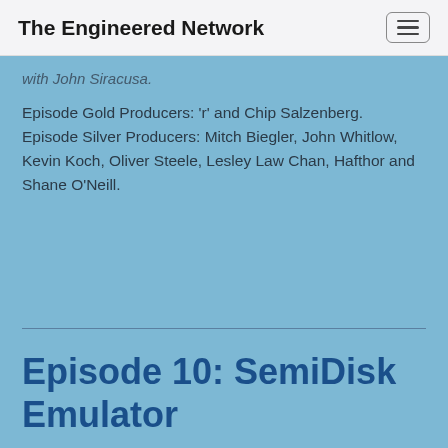The Engineered Network
with John Siracusa.
Episode Gold Producers: 'r' and Chip Salzenberg.
Episode Silver Producers: Mitch Biegler, John Whitlow, Kevin Koch, Oliver Steele, Lesley Law Chan, Hafthor and Shane O'Neill.
Episode 10: SemiDisk Emulator